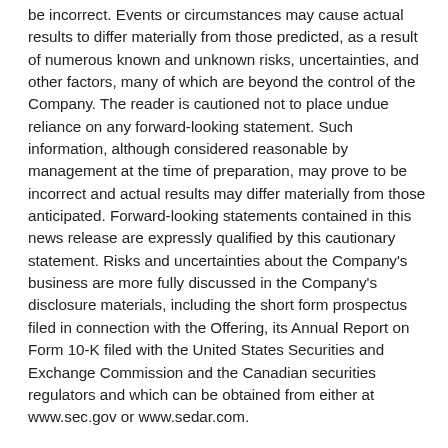be incorrect. Events or circumstances may cause actual results to differ materially from those predicted, as a result of numerous known and unknown risks, uncertainties, and other factors, many of which are beyond the control of the Company. The reader is cautioned not to place undue reliance on any forward-looking statement. Such information, although considered reasonable by management at the time of preparation, may prove to be incorrect and actual results may differ materially from those anticipated. Forward-looking statements contained in this news release are expressly qualified by this cautionary statement. Risks and uncertainties about the Company's business are more fully discussed in the Company's disclosure materials, including the short form prospectus filed in connection with the Offering, its Annual Report on Form 10-K filed with the United States Securities and Exchange Commission and the Canadian securities regulators and which can be obtained from either at www.sec.gov or www.sedar.com.